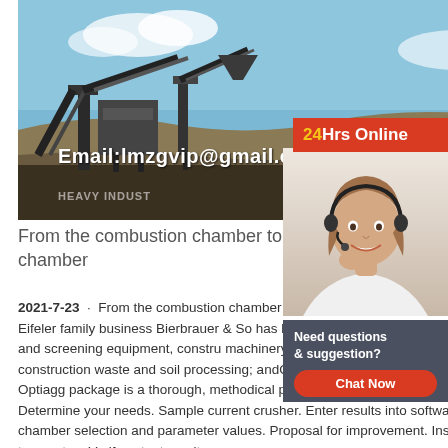[Figure (photo): Industrial crushing and screening equipment at a quarry/mining site with machinery, conveyor belts, blue sky background. Overlaid text reads 'Email:lmzgvip@gmail.co' and watermark 'HEAVY INDUST']
24Hrs Online
[Figure (photo): Customer service agent (woman wearing headset, smiling) with 'Need questions & suggestion?' chat box below and a 'Chat Now' red button.]
From the combustion chamber to the crushing chamber
2021-7-23 · From the combustion chamber crushing chamber: Refractory rock for repro The Eifeler family business Bierbrauer & So has been active since 2004 with the rental of crushing and screening equipment, construction machinery, transport services, civil engineering as well as construction waste and soil processing; andOptiagg Crushing Chamber Solution SRP,The Optiagg package is a thorough, methodical process that typically involves seven stages. Determine your needs. Sample current crusher. Enter results into software. Optimize crushing chamber selection and parameter values. Proposal for improvement. Install hardware and fine-tune setup. Verify output result